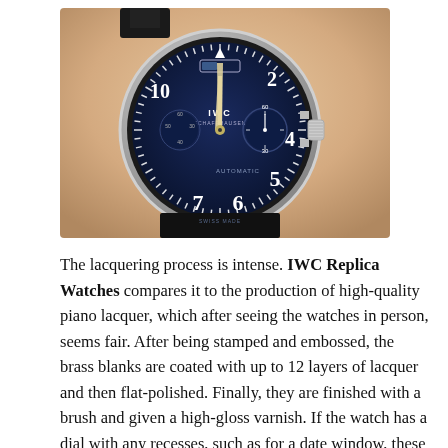[Figure (photo): Close-up photograph of an IWC Schaffhausen Big Pilot watch with a deep blue dial, showing Arabic numerals 2, 4, 5, 6, 7, 10, a subsidiary seconds dial, power reserve indicator, and crown on the right side. The watch has a polished steel case.]
The lacquering process is intense. IWC Replica Watches compares it to the production of high-quality piano lacquer, which after seeing the watches in person, seems fair. After being stamped and embossed, the brass blanks are coated with up to 12 layers of lacquer and then flat-polished. Finally, they are finished with a brush and given a high-gloss varnish. If the watch has a dial with any recesses, such as for a date window, these are also